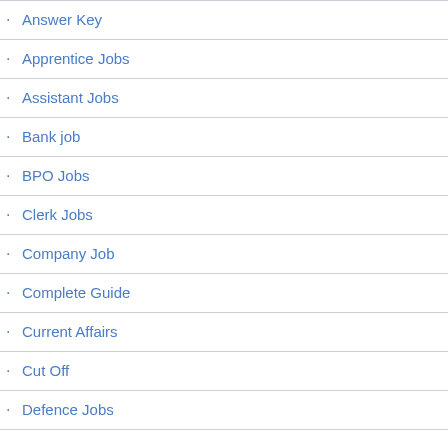Answer Key
Apprentice Jobs
Assistant Jobs
Bank job
BPO Jobs
Clerk Jobs
Company Job
Complete Guide
Current Affairs
Cut Off
Defence Jobs